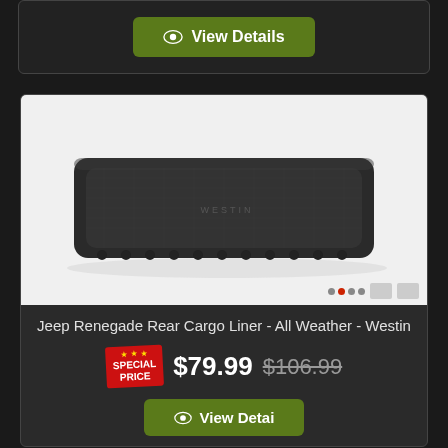[Figure (screenshot): Green 'View Details' button with eye icon at top of page]
[Figure (photo): Black Jeep Renegade Rear Cargo Liner product photo on white background]
Jeep Renegade Rear Cargo Liner - All Weather - Westin
SPECIAL PRICE $79.99 $106.99
[Figure (screenshot): Green 'View Details' button at bottom of page]